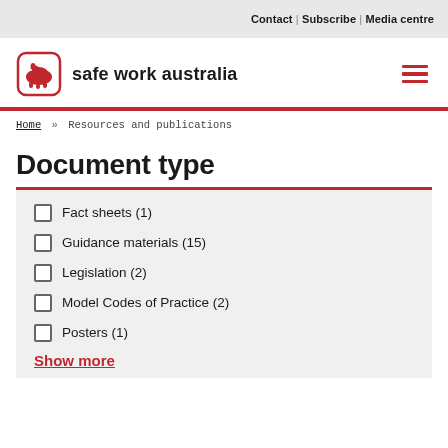Contact | Subscribe | Media centre
[Figure (logo): Safe Work Australia logo with wombat icon and text 'safe work australia']
Home » Resources and publications
Document type
Fact sheets (1)
Guidance materials (15)
Legislation (2)
Model Codes of Practice (2)
Posters (1)
Show more